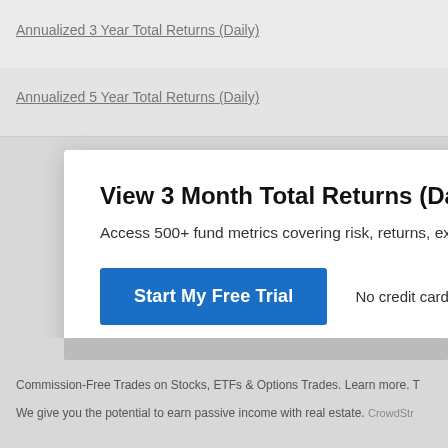Annualized 3 Year Total Returns (Daily)
Annualized 5 Year Total Returns (Daily)
View 3 Month Total Returns (Daily) for SUN466
Access 500+ fund metrics covering risk, returns, expos...
Start My Free Trial
No credit card required.
Already a subscriber? Sign in.
Commission-Free Trades on Stocks, ETFs & Options Trades. Learn more.
We give you the potential to earn passive income with real estate. CrowdStr...